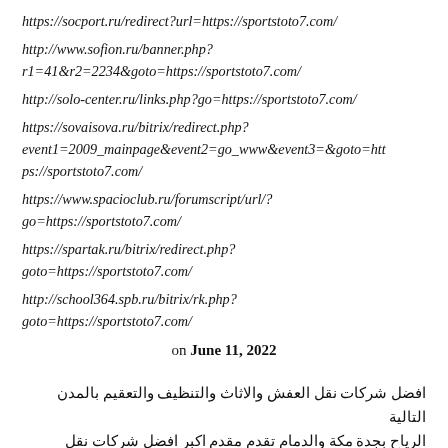https://socport.ru/redirect?url=https://sportstoto7.com/
http://www.sofion.ru/banner.php?r1=41&r2=2234&goto=https://sportstoto7.com/
http://solo-center.ru/links.php?go=https://sportstoto7.com/
https://sovaisova.ru/bitrix/redirect.php?event1=2009_mainpage&event2=go_www&event3=&goto=https://sportstoto7.com/
https://www.spacioclub.ru/forumscript/url/?go=https://sportstoto7.com/
https://spartak.ru/bitrix/redirect.php?goto=https://sportstoto7.com/
http://school364.spb.ru/bitrix/rk.php?goto=https://sportstoto7.com/
on June 11, 2022
افضل شركات نقل العفش والاثاث والتنظيف والتعقيم بالمدن التالية الرياح بجدة مكة والدمام تقدم مقدم اكبر افضل شركات نقل